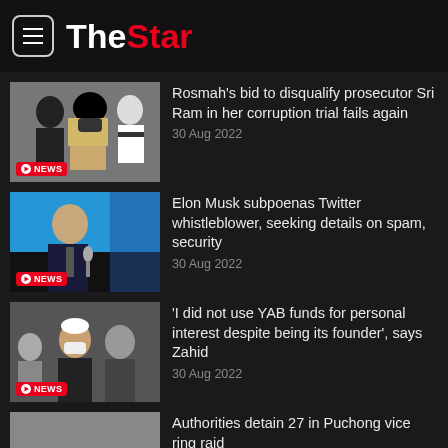The Star
Rosmah's bid to disqualify prosecutor Sri Ram in her corruption trial fails again — 30 Aug 2022
Elon Musk subpoenas Twitter whistleblower, seeking details on spam, security — 30 Aug 2022
'I did not use YAB funds for personal interest despite being its founder', says Zahid — 30 Aug 2022
Authorities detain 27 in Puchong vice ring raid — 30 Aug 2022